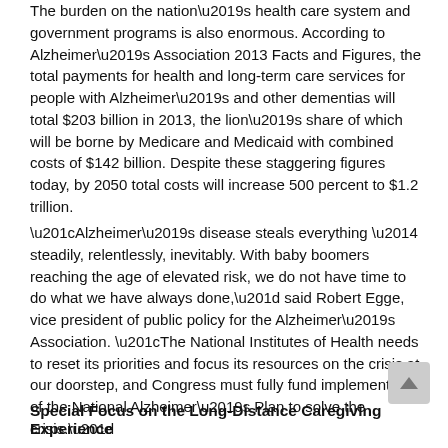The burden on the nation's health care system and government programs is also enormous. According to Alzheimer's Association 2013 Facts and Figures, the total payments for health and long-term care services for people with Alzheimer's and other dementias will total $203 billion in 2013, the lion's share of which will be borne by Medicare and Medicaid with combined costs of $142 billion. Despite these staggering figures today, by 2050 total costs will increase 500 percent to $1.2 trillion.
“Alzheimer’s disease steals everything — steadily, relentlessly, inevitably. With baby boomers reaching the age of elevated risk, we do not have time to do what we have always done,” said Robert Egge, vice president of public policy for the Alzheimer’s Association. “The National Institutes of Health needs to reset its priorities and focus its resources on the crisis at our doorstep, and Congress must fully fund implementation of the National Alzheimer’s Plan to solve the crisis.”
Special Focus on the Long-Distance Caregiving Experience